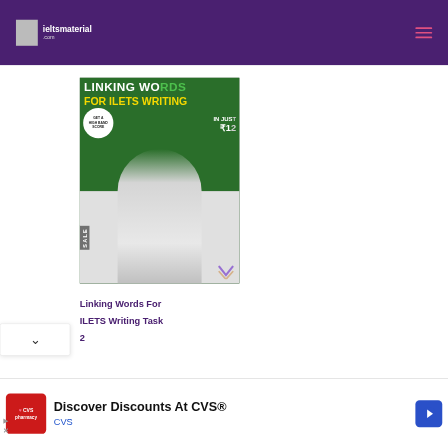Website header with logo and hamburger menu
[Figure (photo): Promotional image for IELTS Writing course: man in white shirt with arms crossed, text 'LINKING WORDS FOR ILETS WRITING', badge 'GET A HIGH BAND SCORE', price in rupees]
Linking Words For ILETS Writing Task 2
[Figure (other): Dropdown chevron UI element]
[Figure (advertisement): CVS Pharmacy advertisement: 'Discover Discounts At CVS®' with CVS logo and navigation arrow icon]